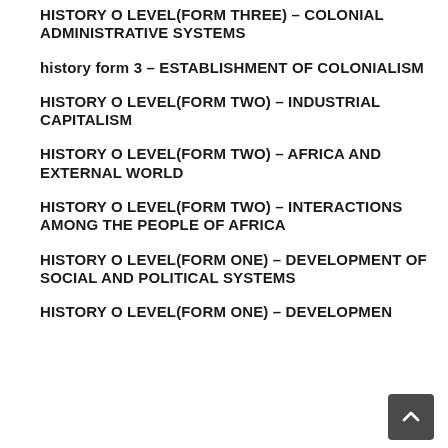HISTORY O LEVEL(FORM THREE) – COLONIAL ADMINISTRATIVE SYSTEMS
history form 3 – ESTABLISHMENT OF COLONIALISM
HISTORY O LEVEL(FORM TWO) – INDUSTRIAL CAPITALISM
HISTORY O LEVEL(FORM TWO) – AFRICA AND EXTERNAL WORLD
HISTORY O LEVEL(FORM TWO) – INTERACTIONS AMONG THE PEOPLE OF AFRICA
HISTORY O LEVEL(FORM ONE) – DEVELOPMENT OF SOCIAL AND POLITICAL SYSTEMS
HISTORY O LEVEL(FORM ONE) – DEVELOPMEN…